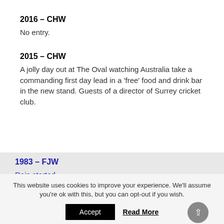2016 – CHW
No entry.
2015 – CHW
A jolly day out at The Oval watching Australia take a commanding first day lead in a ‘free’ food and drink bar in the new stand. Guests of a director of Surrey cricket club.
1983 – FJW
Rain started.
This website uses cookies to improve your experience. We’ll assume you’re ok with this, but you can opt-out if you wish.
Accept
Read More